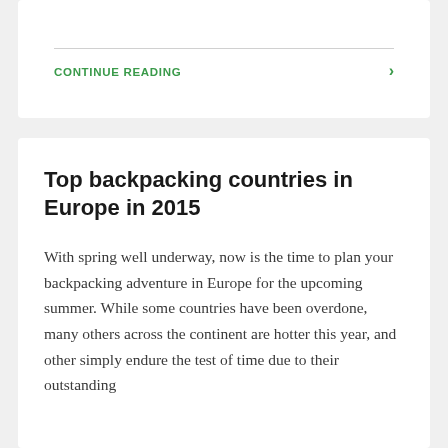CONTINUE READING
Top backpacking countries in Europe in 2015
With spring well underway, now is the time to plan your backpacking adventure in Europe for the upcoming summer. While some countries have been overdone, many others across the continent are hotter this year, and other simply endure the test of time due to their outstanding